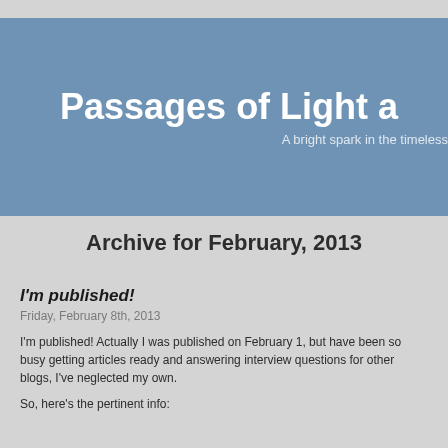Passages of Light a
A bright spark in the timeless
Archive for February, 2013
I'm published!
Friday, February 8th, 2013
I'm published! Actually I was published on February 1, but have been so busy getting articles ready and answering interview questions for other blogs, I've neglected my own.
So, here's the pertinent info: